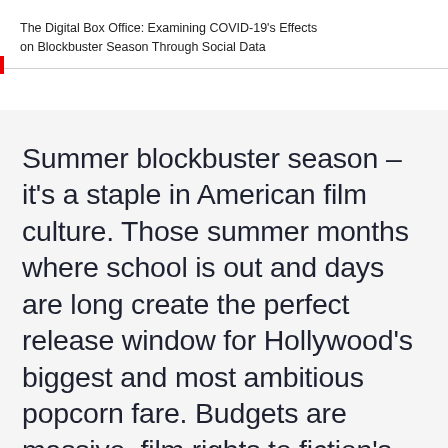The Digital Box Office: Examining COVID-19's Effects on Blockbuster Season Through Social Data
Summer blockbuster season – it's a staple in American film culture. Those summer months where school is out and days are long create the perfect release window for Hollywood's biggest and most ambitious popcorn fare. Budgets are massive, film rights to fiction's biggest draws like Spider-Man are contentious, but the rewards are worth the risk as increased demand can nearly guarantee huge